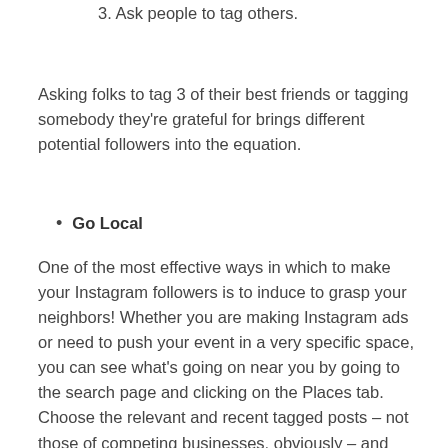3. Ask people to tag others.
Asking folks to tag 3 of their best friends or tagging somebody they’re grateful for brings different potential followers into the equation.
Go Local
One of the most effective ways in which to make your Instagram followers is to induce to grasp your neighbors! Whether you are making Instagram ads or need to push your event in a very specific space, you can see what’s going on near you by going to the search page and clicking on the Places tab. Choose the relevant and recent tagged posts – not those of competing businesses, obviously – and leave a comment or even an emoji and follow the person if you like what you see. Hopefully, this may be the beginning of Associate in Nursing organic interaction.
If you offer life coaching services, you could type in your